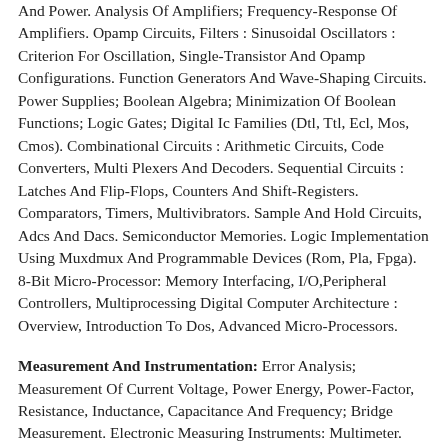And Power. Analysis Of Amplifiers; Frequency-Response Of Amplifiers. Opamp Circuits, Filters : Sinusoidal Oscillators : Criterion For Oscillation, Single-Transistor And Opamp Configurations. Function Generators And Wave-Shaping Circuits. Power Supplies; Boolean Algebra; Minimization Of Boolean Functions; Logic Gates; Digital Ic Families (Dtl, Ttl, Ecl, Mos, Cmos). Combinational Circuits : Arithmetic Circuits, Code Converters, Multi Plexers And Decoders. Sequential Circuits : Latches And Flip-Flops, Counters And Shift-Registers. Comparators, Timers, Multivibrators. Sample And Hold Circuits, Adcs And Dacs. Semiconductor Memories. Logic Implementation Using Muxdmux And Programmable Devices (Rom, Pla, Fpga). 8-Bit Micro-Processor: Memory Interfacing, I/O,Peripheral Controllers, Multiprocessing Digital Computer Architecture : Overview, Introduction To Dos, Advanced Micro-Processors.
Measurement And Instrumentation: Error Analysis; Measurement Of Current Voltage, Power Energy, Power-Factor, Resistance, Inductance, Capacitance And Frequency; Bridge Measurement. Electronic Measuring Instruments: Multimeter. Cro, Digital Voltmeter, Frequency Counter, Q-Meter, Spectrum-Analyser, Distortion-Meter, Transducers; Thermocouple,